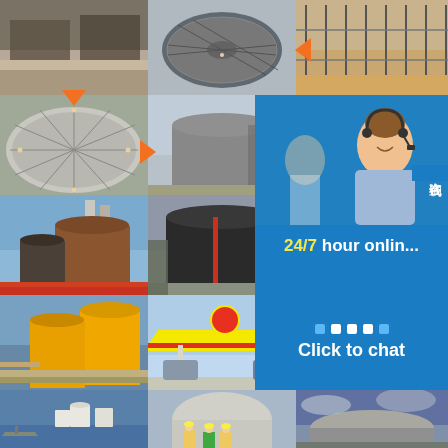[Figure (photo): Construction site with concrete walls and excavation, large tank foundation being built]
[Figure (photo): Aerial view of circular tank foundation with rebar grid pattern]
[Figure (photo): Steel pipe framework/scaffolding structure in desert setting]
[Figure (photo): Aerial view of large dome-shaped tank roof under construction with workers on top]
[Figure (photo): Completed large cylindrical storage tank, gray, standalone]
[Figure (photo): Customer service representative woman wearing headset smiling, 24/7 hour online chat overlay]
[Figure (photo): Industrial tanks with chimneys, red-brown cylindrical storage tanks at oil facility]
[Figure (photo): Large dark cylindrical storage tank at industrial facility with cloudy sky]
[Figure (photo): Yellow cylindrical storage tanks with pipelines at industrial port facility]
[Figure (photo): Shell gas station with colorful canopy]
[Figure (photo): Large cylindrical storage tank close up, gray metal]
[Figure (photo): Port with multiple white storage tanks and boats]
[Figure (photo): Workers in hard hats standing near large dome-shaped storage tank]
[Figure (photo): Large storage tank at dusk with cloudy sky]